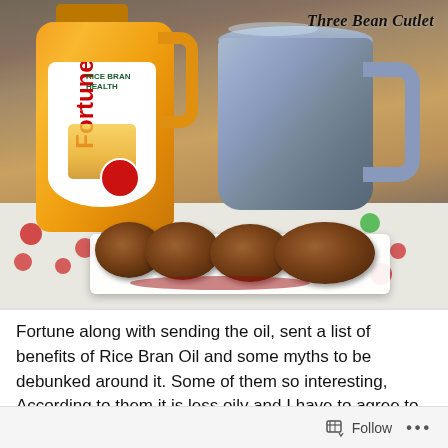[Figure (photo): Photo of Fortune Rice Bran Health oil bottle, a ceramic mug, and three bean cutlets on a white plate on a decorative tablecloth. Blog watermark 'Three Bean Cutlet' in top right corner.]
Fortune along with sending the oil, sent a list of benefits of Rice Bran Oil and some myths to be debunked around it. Some of them so interesting, According to them it is less oily and I have to agree to this one.
Follow ...